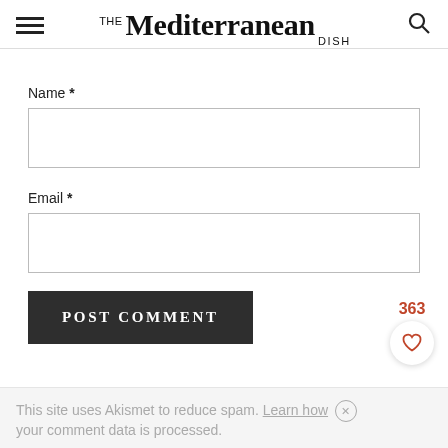THE Mediterranean DISH
Name *
Email *
POST COMMENT
363
This site uses Akismet to reduce spam. Learn how your comment data is processed.